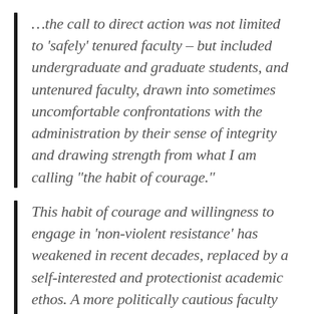…the call to direct action was not limited to 'safely' tenured faculty – but included undergraduate and graduate students, and untenured faculty, drawn into sometimes uncomfortable confrontations with the administration by their sense of integrity and drawing strength from what I am calling “the habit of courage.”
This habit of courage and willingness to engage in ‘non-violent resistance’ has weakened in recent decades, replaced by a self-interested and protectionist academic ethos. A more politically cautious faculty have followed a neoliberal notion of decorous and quiet civility….